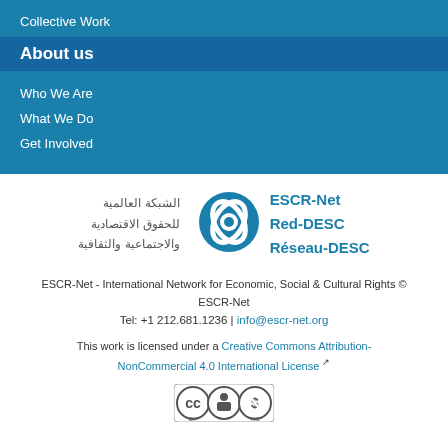Collective Work
About us
Who We Are
What We Do
Get Involved
[Figure (logo): ESCR-Net logo with Arabic text and circular blue graphic, alongside ESCR-Net / Red-DESC / Réseau-DESC text]
ESCR-Net - International Network for Economic, Social & Cultural Rights © ESCR-Net
Tel: +1 212.681.1236 | info@escr-net.org
This work is licensed under a Creative Commons Attribution-NonCommercial 4.0 International License
[Figure (logo): Creative Commons BY-NC license badge]